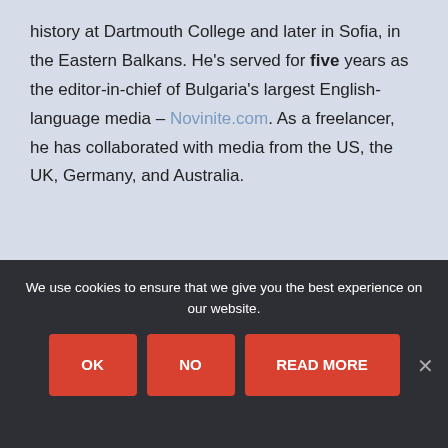history at Dartmouth College and later in Sofia, in the Eastern Balkans. He's served for five years as the editor-in-chief of Bulgaria's largest English-language media – Novinite.com. As a freelancer, he has collaborated with media from the US, the UK, Germany, and Australia.
[Figure (logo): Blue feather/quill pen logo on a light blue-grey rounded rectangle background]
We use cookies to ensure that we give you the best experience on our website.
OK
NO
READ MORE